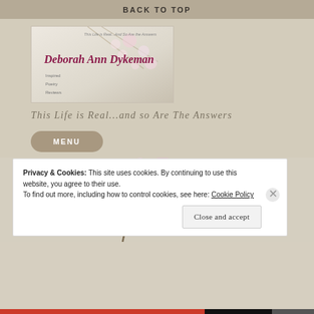BACK TO TOP
[Figure (illustration): Blog banner for Deborah Ann Dykeman with floral (apple blossom) background and cursive script name. Tagline: 'This Life is Real...And So Are the Answers']
This Life is Real...and so Are The Answers
MENU
[Figure (photo): Close-up photo of pink apple blossom branch with buds and green leaves against a light background]
Privacy & Cookies: This site uses cookies. By continuing to use this website, you agree to their use.
To find out more, including how to control cookies, see here: Cookie Policy
Close and accept